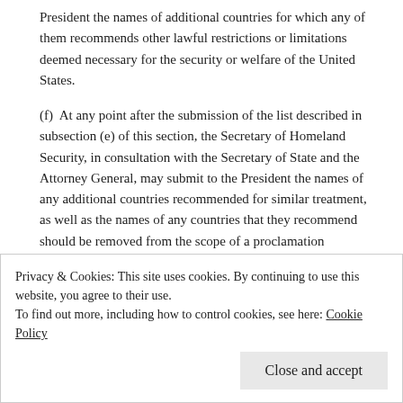President the names of additional countries for which any of them recommends other lawful restrictions or limitations deemed necessary for the security or welfare of the United States.
(f)  At any point after the submission of the list described in subsection (e) of this section, the Secretary of Homeland Security, in consultation with the Secretary of State and the Attorney General, may submit to the President the names of any additional countries recommended for similar treatment, as well as the names of any countries that they recommend should be removed from the scope of a proclamation described in subsection (e) of this section.
(g)  The Secretary of State and the Secretary of Homeland Security shall submit to the President a joint report on the progress in implementing this order within 60 days of the effective date of this
Privacy & Cookies: This site uses cookies. By continuing to use this website, you agree to their use.
To find out more, including how to control cookies, see here: Cookie Policy
Close and accept